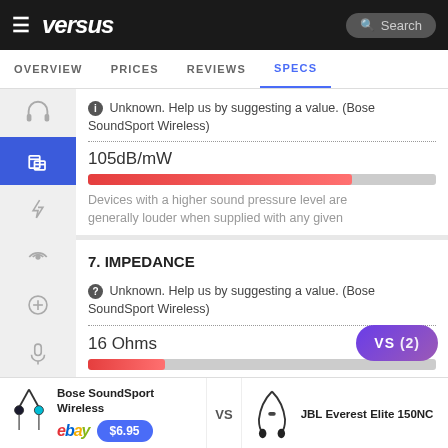versus — Search
OVERVIEW  PRICES  REVIEWS  SPECS
Unknown. Help us by suggesting a value. (Bose SoundSport Wireless)
105dB/mW
Devices with a higher sound pressure level are generally louder when supplied with any given
7. IMPEDANCE
Unknown. Help us by suggesting a value. (Bose SoundSport Wireless)
16 Ohms
Bose SoundSport Wireless  VS  JBL Everest Elite 150NC  $6.95